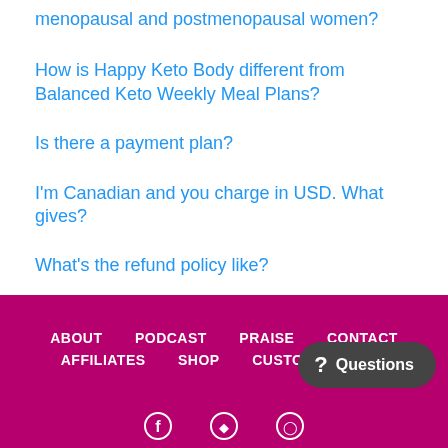menopausal and postmenopausal women?
How is Happy Keto Body different from Balanced Keto Weekly Meal Plans?
Is there a payment plan?
I'm Canadian and you charge in USD. What gives?
What's the refund policy like?
ABOUT   PODCAST   PRAISE   CONTACT   AFFILIATES   SHOP   CUSTOMER LOGIN